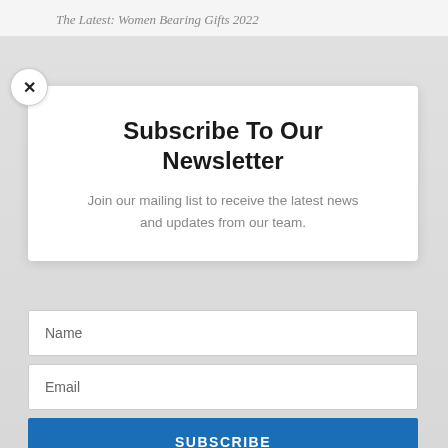The Latest: Women Bearing Gifts 2022
Subscribe To Our Newsletter
Join our mailing list to receive the latest news and updates from our team.
Name
Email
SUBSCRIBE